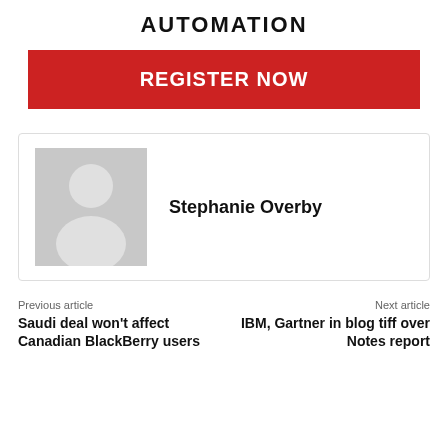AUTOMATION
[Figure (other): Red REGISTER NOW button]
[Figure (other): Author profile card with grey placeholder avatar and name Stephanie Overby]
Previous article
Saudi deal won't affect Canadian BlackBerry users
Next article
IBM, Gartner in blog tiff over Notes report